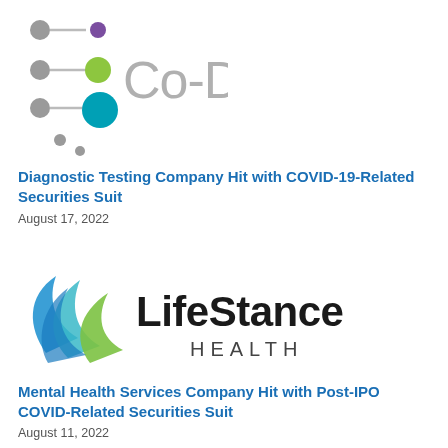[Figure (logo): Co-Dx company logo with colorful dots and lines on the left and grey 'Co-Dx' text on the right]
Diagnostic Testing Company Hit with COVID-19-Related Securities Suit
August 17, 2022
[Figure (logo): LifeStance Health company logo with colorful swoosh/leaf shapes on left and 'LifeStance HEALTH' text on right]
Mental Health Services Company Hit with Post-IPO COVID-Related Securities Suit
August 11, 2022